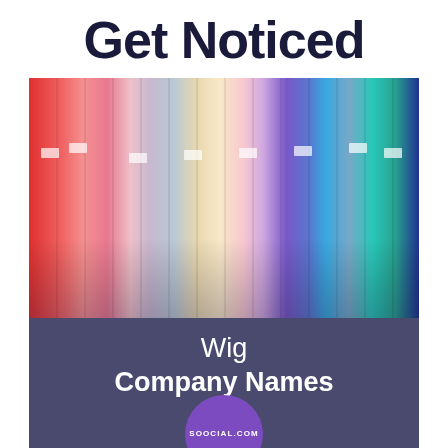Get Noticed
[Figure (photo): A display of colorful wigs in various colors (red, pink, blonde, purple, blue, teal) hanging in a store, with an overlay banner reading 'Wig Company Names' and a purple circle badge with 'SOOCIAL.COM']
What is in a name? A lot. The name of your business will define what your company